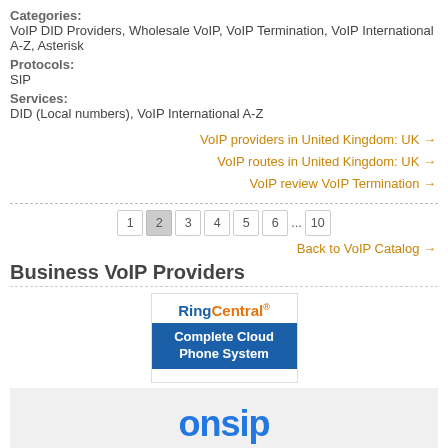Categories:
VoIP DID Providers, Wholesale VoIP, VoIP Termination, VoIP International A-Z, Asterisk
Protocols:
SIP
Services:
DID (Local numbers), VoIP International A-Z
VoIP providers in United Kingdom: UK →
VoIP routes in United Kingdom: UK →
VoIP review VoIP Termination →
1 2 3 4 5 6 ... 10
Back to VoIP Catalog →
Business VoIP Providers
[Figure (logo): RingCentral ad: logo with 'Complete Cloud Phone System' on blue background]
[Figure (logo): OnSIP logo on light grey background]